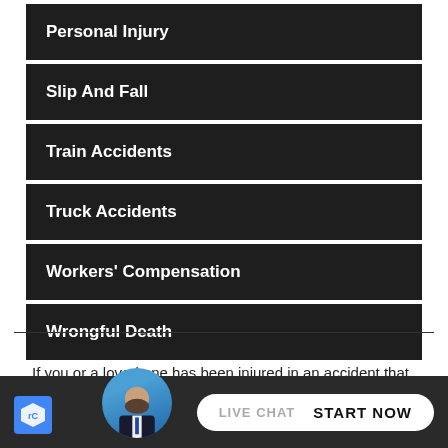Personal Injury
Slip And Fall
Train Accidents
Truck Accidents
Workers' Compensation
Wrongful Death
If you or a loved one has been injured in an accident that someone else may be legally responsible for, take the time to
[Figure (screenshot): Live chat widget with attorney avatar and START NOW button]